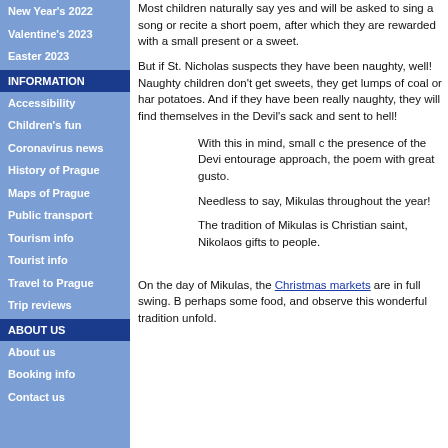New Year's 2022
Valentine's 2023
Easter 2023
INFORMATION
Accessibility
Children's fun
Coronavirus news
History of Prague
Maps of Prague
Public transport
Tourism info
Tourist info
Travel to Prague
Trip reviews
ABOUT US
About us
Booking info
Contact us
Most children naturally say yes and will be asked to sing a song or recite a short poem, after which they are rewarded with a small present or a sweet.
But if St. Nicholas suspects they have been naughty, well! Naughty children don't get sweets, they get lumps of coal or hard potatoes. And if they have been really naughty, they will find themselves in the Devil's sack and sent to hell!
With this in mind, small c... the presence of the Devi... entourage approach, the... poem with great gusto.
Needless to say, Mikulas... throughout the year!
The tradition of Mikulas is... Christian saint, Nikolaos... gifts to people.
On the day of Mikulas, the Christmas markets are in full swing. B... perhaps some food, and observe this wonderful tradition unfold.